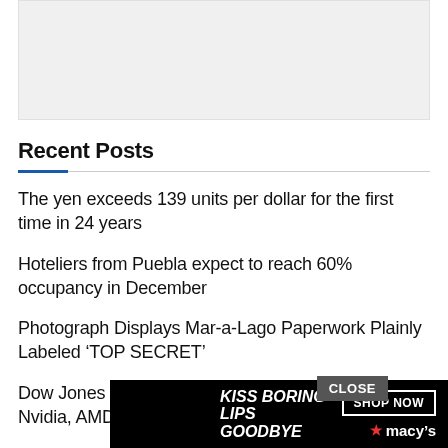[Figure (other): Gray advertisement placeholder banner at top of page]
Recent Posts
The yen exceeds 139 units per dollar for the first time in 24 years
Hoteliers from Puebla expect to reach 60% occupancy in December
Photograph Displays Mar-a-Lago Paperwork Plainly Labeled ‘TOP SECRET’
Dow Jones Futures Fall As China Export Curbs On Nvidia, AMD Slam Chip Stocks
Soulma...
[Figure (other): Macy's advertisement banner: KISS BORING LIPS GOODBYE with SHOP NOW button and Macy's star logo, with CLOSE button overlay]